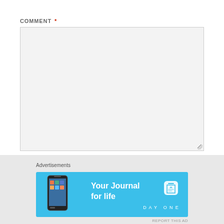COMMENT *
[Figure (screenshot): Empty comment textarea input box with resize handle at bottom right]
NAME
[Figure (screenshot): Empty name text input box]
EMAIL
[Figure (screenshot): Close button (X in circle) overlay]
Advertisements
[Figure (infographic): DayOne app advertisement banner - Your Journal for life, blue background with phone and app icon]
REPORT THIS AD